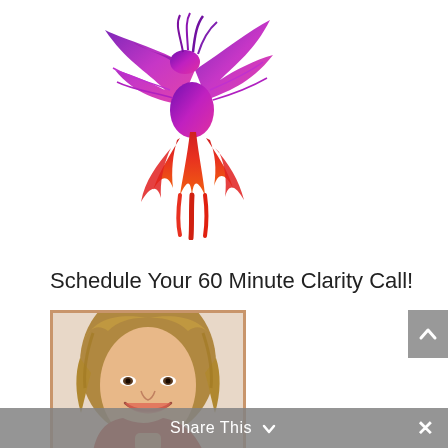[Figure (logo): Phoenix bird logo with purple upper body and red/orange flame tail]
Schedule Your 60 Minute Clarity Call!
[Figure (photo): Headshot of a smiling woman with blonde hair wearing a red top, in a tan/brown frame]
Share This